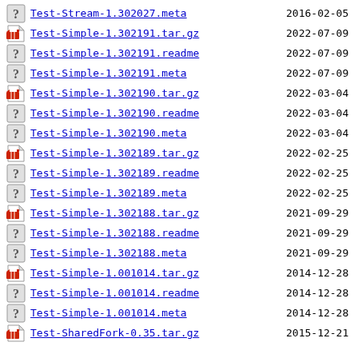Test-Stream-1.302027.meta  2016-02-05
Test-Simple-1.302191.tar.gz  2022-07-09
Test-Simple-1.302191.readme  2022-07-09
Test-Simple-1.302191.meta  2022-07-09
Test-Simple-1.302190.tar.gz  2022-03-04
Test-Simple-1.302190.readme  2022-03-04
Test-Simple-1.302190.meta  2022-03-04
Test-Simple-1.302189.tar.gz  2022-02-25
Test-Simple-1.302189.readme  2022-02-25
Test-Simple-1.302189.meta  2022-02-25
Test-Simple-1.302188.tar.gz  2021-09-29
Test-Simple-1.302188.readme  2021-09-29
Test-Simple-1.302188.meta  2021-09-29
Test-Simple-1.001014.tar.gz  2014-12-28
Test-Simple-1.001014.readme  2014-12-28
Test-Simple-1.001014.meta  2014-12-28
Test-SharedFork-0.35.tar.gz  2015-12-21